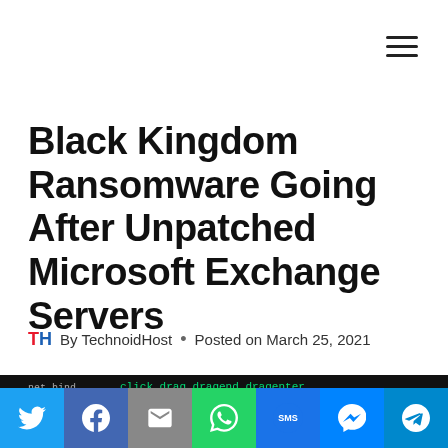Black Kingdom Ransomware Going After Unpatched Microsoft Exchange Servers
By TechnoidHost • Posted on March 25, 2021
[Figure (photo): Dark background with green monospace code text, partially visible]
[Figure (infographic): Social media share bar with Twitter, Facebook, Email, WhatsApp, SMS, Messenger, Telegram buttons]